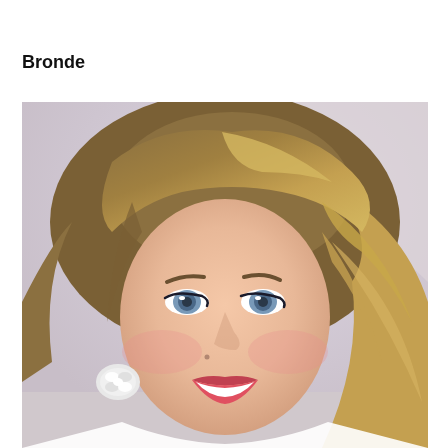Bronde
[Figure (photo): Close-up portrait of a smiling woman with bronde (brown-blonde) hair styled in a loose updo with long flowing waves. She has blue eyes, light skin with freckles, and is wearing large white crystal/rhinestone earrings. She appears to be at a formal event against a blurred light grey/pink background.]